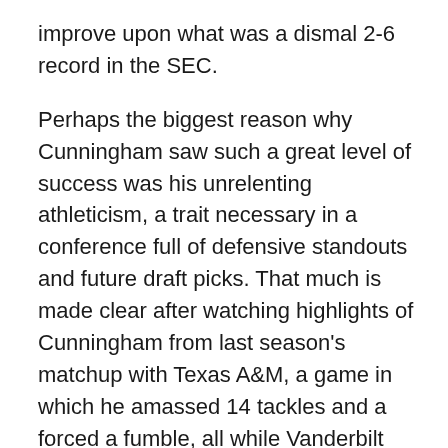improve upon what was a dismal 2-6 record in the SEC.
Perhaps the biggest reason why Cunningham saw such a great level of success was his unrelenting athleticism, a trait necessary in a conference full of defensive standouts and future draft picks. That much is made clear after watching highlights of Cunningham from last season's matchup with Texas A&M, a game in which he amassed 14 tackles and a forced a fumble, all while Vanderbilt suffered a 25-0 drubbing (those highlights can be found at the end of this post).